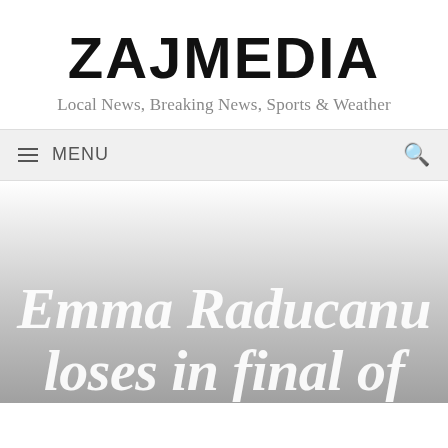ZAJMEDIA
Local News, Breaking News, Sports & Weather
≡ MENU
Emma Raducanu loses in final of